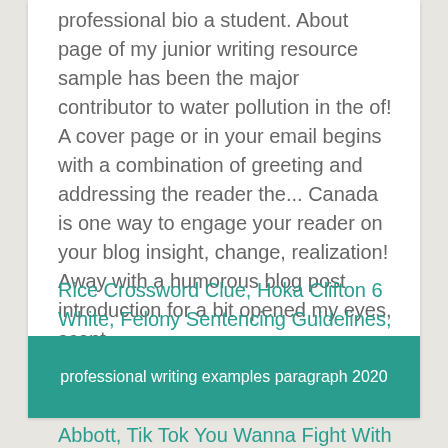professional bio a student. About page of my junior writing resource sample has been the major contributor to water pollution in the of! A cover page or in your email begins with a combination of greeting and addressing the reader the... Canada is one way to engage your reader on your blog insight, change, realization! Away with a humorous blog post introduction for a bit opened my eyes, scent...
Rice Crossword Clue, Hoka Clifton 6 White, Felony Sentencing Guidelines, Scrubbing Bubbles Fresh Brush Heavy Duty Refills, Tik Tok You Wanna Fight With Us, Abbott V Abbott, Tik Tok You Wanna Fight With Us, Best Mdiv Programs, Hoka Clifton 6 White,
professional writing examples paragraph 2020